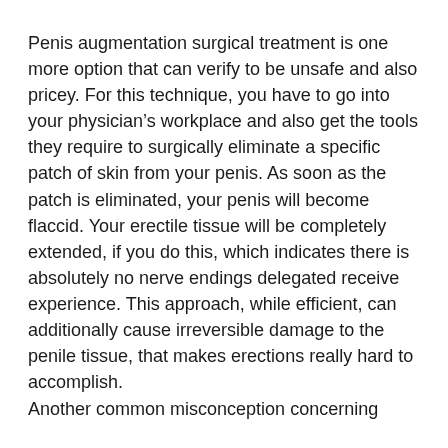Penis augmentation surgical treatment is one more option that can verify to be unsafe and also pricey. For this technique, you have to go into your physician’s workplace and also get the tools they require to surgically eliminate a specific patch of skin from your penis. As soon as the patch is eliminated, your penis will become flaccid. Your erectile tissue will be completely extended, if you do this, which indicates there is absolutely no nerve endings delegated receive experience. This approach, while efficient, can additionally cause irreversible damage to the penile tissue, that makes erections really hard to accomplish.
Another common misconception concerning